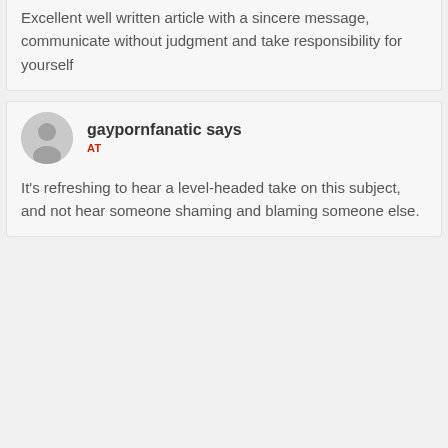Excellent well written article with a sincere message, communicate without judgment and take responsibility for yourself
gaypornfanatic says
AT
It's refreshing to hear a level-headed take on this subject, and not hear someone shaming and blaming someone else.